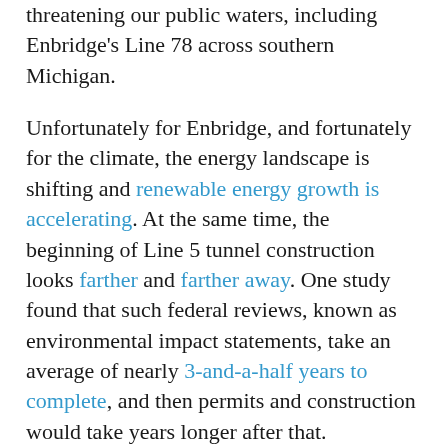threatening our public waters, including Enbridge's Line 78 across southern Michigan.
Unfortunately for Enbridge, and fortunately for the climate, the energy landscape is shifting and renewable energy growth is accelerating. At the same time, the beginning of Line 5 tunnel construction looks farther and farther away. One study found that such federal reviews, known as environmental impact statements, take an average of nearly 3-and-a-half years to complete, and then permits and construction would take years longer after that.
The tunnel may or may not be constructed. While Enbridge continues to operate Line 5 in the Straits, violating the law, and threatening the Great Lakes and the region's economy, the existing dual pipelines pose an unacceptable risk of massive